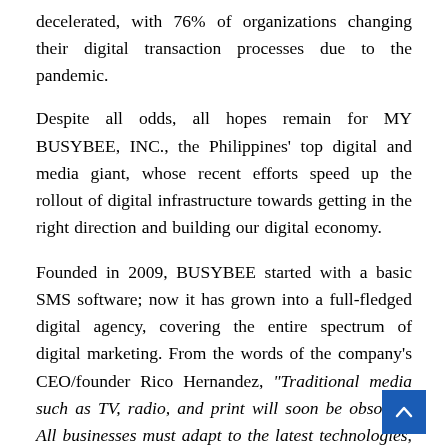decelerated, with 76% of organizations changing their digital transaction processes due to the pandemic.
Despite all odds, all hopes remain for MY BUSYBEE, INC., the Philippines' top digital and media giant, whose recent efforts speed up the rollout of digital infrastructure towards getting in the right direction and building our digital economy.
Founded in 2009, BUSYBEE started with a basic SMS software; now it has grown into a full-fledged digital agency, covering the entire spectrum of digital marketing. From the words of the company's CEO/founder Rico Hernandez, "Traditional media such as TV, radio, and print will soon be obsolete. All businesses must adapt to the latest technologies, otherwise, their market share will be eaten up by competitors." Businesses embracing this reality will surely be the leader of unprecedented growth.